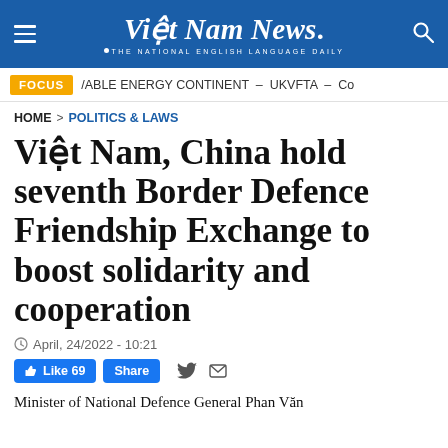Việt Nam News. THE NATIONAL ENGLISH LANGUAGE DAILY
FOCUS / ABLE ENERGY CONTINENT – UKVFTA – Co
HOME > POLITICS & LAWS
Việt Nam, China hold seventh Border Defence Friendship Exchange to boost solidarity and cooperation
April, 24/2022 - 10:21
Like 69  Share
Minister of National Defence General Phan Văn